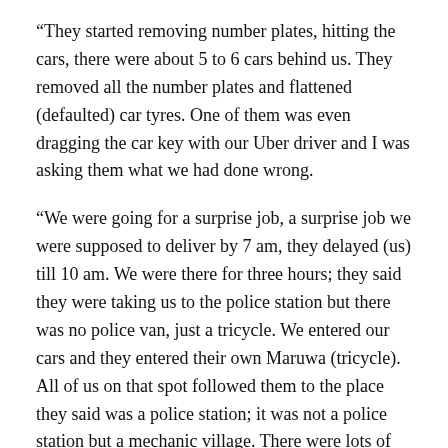“They started removing number plates, hitting the cars, there were about 5 to 6 cars behind us. They removed all the number plates and flattened (defaulted) car tyres. One of them was even dragging the car key with our Uber driver and I was asking them what we had done wrong.
“We were going for a surprise job, a surprise job we were supposed to deliver by 7 am, they delayed (us) till 10 am. We were there for three hours; they said they were taking us to the police station but there was no police van, just a tricycle. We entered our cars and they entered their own Maruwa (tricycle). All of us on that spot followed them to the place they said was a police station; it was not a police station but a mechanic village. There were lots of people there begging them, they had arrested people before us and even while we were there, they kept arresting other people.